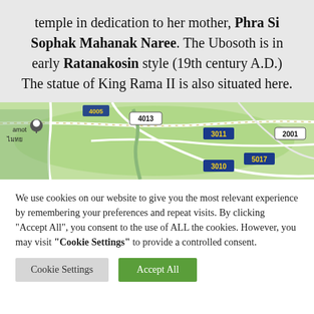temple in dedication to her mother, Phra Si Sophak Mahanak Naree. The Ubosoth is in early Ratanakosin style (19th century A.D.) The statue of King Rama II is also situated here.
[Figure (map): Road map showing Thai roads with route numbers 4013, 3011, 2001, 5017, 3010, and partial route on left. Green landscape with road network visible.]
We use cookies on our website to give you the most relevant experience by remembering your preferences and repeat visits. By clicking "Accept All", you consent to the use of ALL the cookies. However, you may visit "Cookie Settings" to provide a controlled consent.